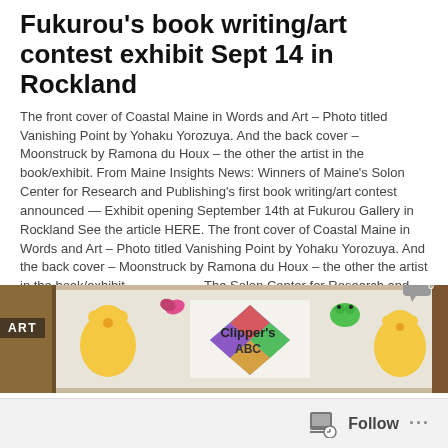Fukurou's book writing/art contest exhibit Sept 14 in Rockland
The front cover of Coastal Maine in Words and Art – Photo titled Vanishing Point by Yohaku Yorozuya. And the back cover – Moonstruck by Ramona du Houx – the other the artist in the book/exhibit. From Maine Insights News: Winners of Maine's Solon Center for Research and Publishing's first book writing/art contest announced — Exhibit opening September 14th at Fukurou Gallery in Rockland See the article HERE. The front cover of Coastal Maine in Words and Art – Photo titled Vanishing Point by Yohaku Yorozuya. And the back cover – Moonstruck by Ramona du Houx – the other the artist in the book/exhibit.                     The Solon Center for Research and Publishing [...]
POSTED ON AUGUST 29, 2019
[Figure (photo): A photo strip showing colorful artwork displayed at an exhibition — children's art with animals and letters visible, including what appears to be a 'Clippers ABC' book cover display]